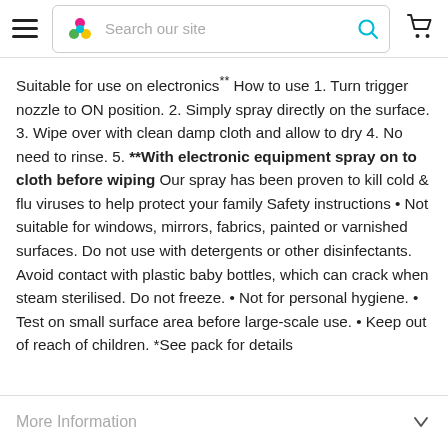[Figure (screenshot): Website header with hamburger menu, colorful logo, search bar with 'Search our site' placeholder and cyan search icon, and shopping cart icon]
Suitable for use on electronics** How to use 1. Turn trigger nozzle to ON position. 2. Simply spray directly on the surface. 3. Wipe over with clean damp cloth and allow to dry 4. No need to rinse. 5. **With electronic equipment spray on to cloth before wiping Our spray has been proven to kill cold & flu viruses to help protect your family Safety instructions • Not suitable for windows, mirrors, fabrics, painted or varnished surfaces. Do not use with detergents or other disinfectants. Avoid contact with plastic baby bottles, which can crack when steam sterilised. Do not freeze. • Not for personal hygiene. • Test on small surface area before large-scale use. • Keep out of reach of children. *See pack for details
More Information